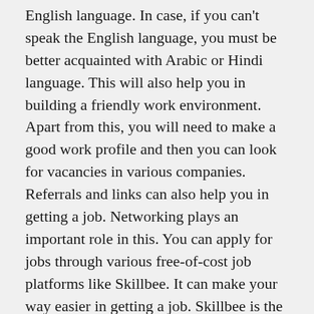English language. In case, if you can't speak the English language, you must be better acquainted with Arabic or Hindi language. This will also help you in building a friendly work environment. Apart from this, you will need to make a good work profile and then you can look for vacancies in various companies. Referrals and links can also help you in getting a job. Networking plays an important role in this. You can apply for jobs through various free-of-cost job platforms like Skillbee. It can make your way easier in getting a job. Skillbee is the no.1 job platform in Umm Al-Quwain. It will help you in connecting with various trusted and verified companies with zero commission charges. Once you upskill yourself, you can check out the latest vacancies with your updated resume on the app. Apply Now to the Latest Job Vacancies on the